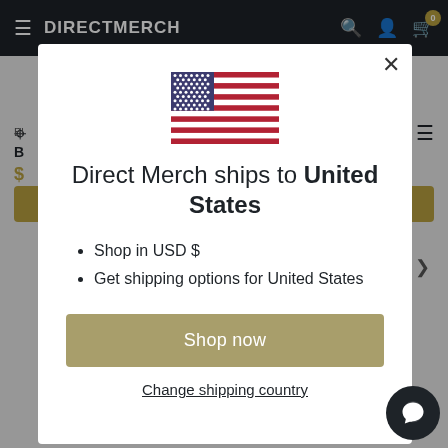[Figure (screenshot): DirectMerch e-commerce website with dark navigation bar showing hamburger menu, DIRECTMERCH logo, search, account, and cart icons with badge showing 0]
[Figure (illustration): US flag icon centered in modal]
Direct Merch ships to United States
Shop in USD $
Get shipping options for United States
Shop now
Change shipping country